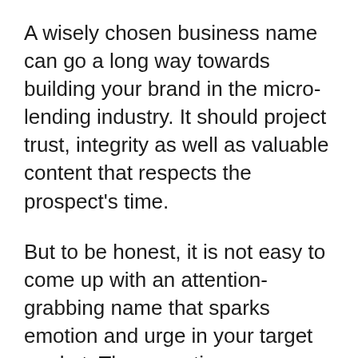A wisely chosen business name can go a long way towards building your brand in the micro-lending industry. It should project trust, integrity as well as valuable content that respects the prospect's time.
But to be honest, it is not easy to come up with an attention-grabbing name that sparks emotion and urge in your target market. The more time you spend on brainstorming, the more frustrated you'll get.
Therefore, to avoid that, we have put